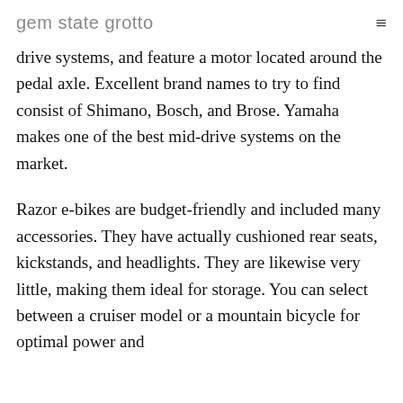gem state grotto
drive systems, and feature a motor located around the pedal axle. Excellent brand names to try to find consist of Shimano, Bosch, and Brose. Yamaha makes one of the best mid-drive systems on the market.
Razor e-bikes are budget-friendly and included many accessories. They have actually cushioned rear seats, kickstands, and headlights. They are likewise very little, making them ideal for storage. You can select between a cruiser model or a mountain bicycle for optimal power and